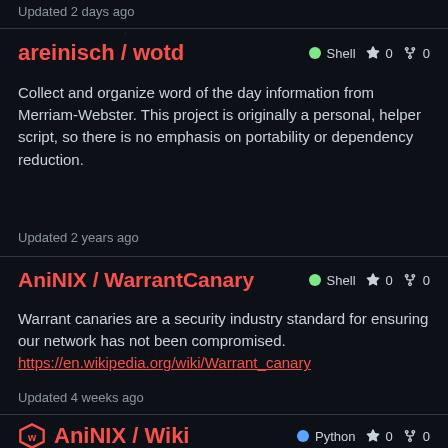Updated 2 days ago
areinisch / wotd   Shell ☆ 0 ⑂ 0
Collect and organize word of the day information from Merriam-Webster. This project is originally a personal, helper script, so there is no emphasis on portability or dependency reduction.
Updated 2 years ago
AniNIX / WarrantCanary   Shell ☆ 0 ⑂ 0
Warrant canaries are a security industry standard for ensuring our network has not been compromised. https://en.wikipedia.org/wiki/Warrant_canary
Updated 4 weeks ago
AniNIX / Wiki   Python ☆ 0 ⑂ 0